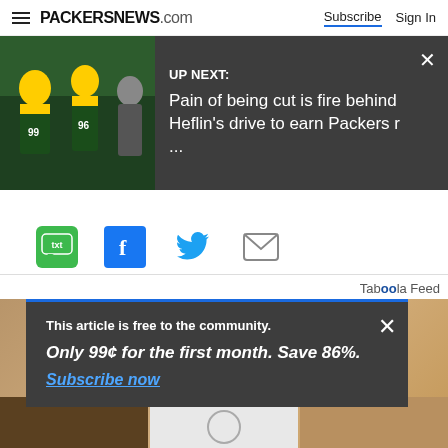PACKERSNEWS.com — Subscribe | Sign In
[Figure (screenshot): UP NEXT promo bar with Green Bay Packers players image and text: 'Pain of being cut is fire behind Heflin's drive to earn Packers r ...']
[Figure (infographic): Social sharing icons row: SMS/txt (green), Facebook (blue), Twitter (blue bird), Email (grey envelope)]
Taboola Feed
This article is free to the community. Only 99¢ for the first month. Save 86%. Subscribe now
Subscribe | Sign in